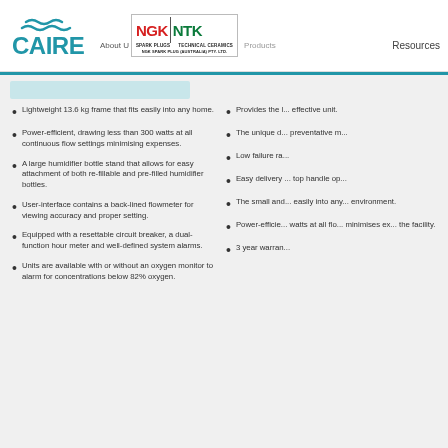CAIRE | NGK NTK SPARK PLUGS TECHNICAL CERAMICS | About Us | Products | Resources
Lightweight 13.6 kg frame that fits easily into any home.
Power-efficient, drawing less than 300 watts at all continuous flow settings minimising expenses.
A large humidifier bottle stand that allows for easy attachment of both re-fillable and pre-filled humidifier bottles.
User-interface contains a back-lined flowmeter for viewing accuracy and proper setting.
Equipped with a resettable circuit breaker, a dual-function hour meter and well-defined system alarms.
Units are available with or without an oxygen monitor to alarm for concentrations below 82% oxygen.
Provides the l... effective unit.
The unique d... preventative m...
Low failure ra...
Easy delivery ... top handle op...
The small and... easily into any... environment.
Power-efficie... watts at all flo... minimises ex... the facility.
3 year warran...